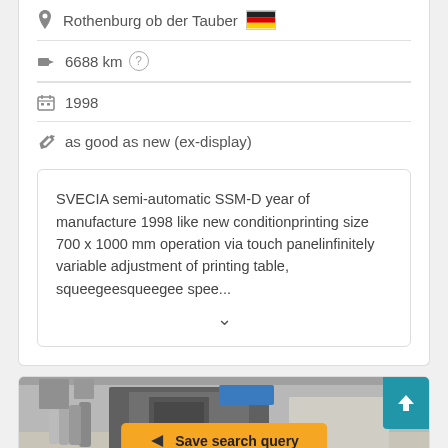Rothenburg ob der Tauber [Germany flag]
6688 km [?]
1998
as good as new (ex-display)
SVECIA semi-automatic SSM-D year of manufacture 1998 like new conditionprinting size 700 x 1000 mm operation via touch panelinfinitely variable adjustment of printing table, squeegeesqueegee spee...
[Figure (photo): Industrial printing machine in a workshop/factory environment, gray machinery visible with warehouse background.]
Save search query